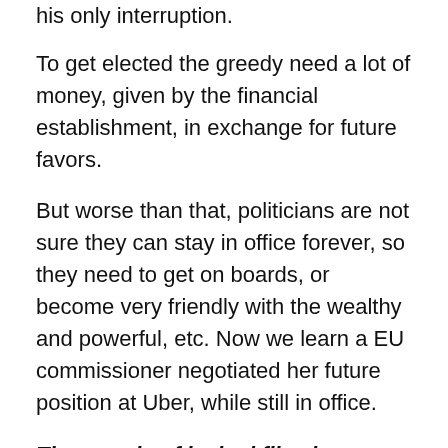his only interruption.
To get elected the greedy need a lot of money, given by the financial establishment, in exchange for future favors.
But worse than that, politicians are not sure they can stay in office forever, so they need to get on boards, or become very friendly with the wealthy and powerful, etc. Now we learn a EU commissioner negotiated her future position at Uber, while still in office.
Thousands of leaked files have exposed how Uber courted top politicians, and how far Uber went to avoid justice.
Many so-called “tech” monopolies are just organizations violating the spirit, if not the letter, of the law. Recently two-third of media revenue in the US went through Google and Facebook.